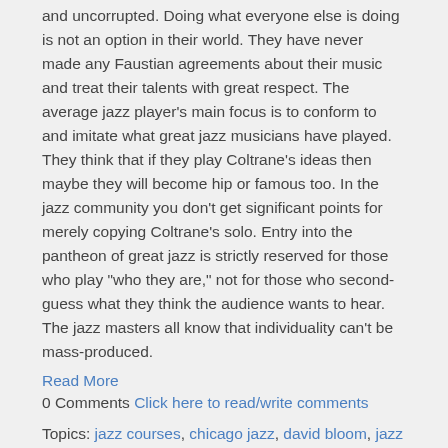and uncorrupted. Doing what everyone else is doing is not an option in their world. They have never made any Faustian agreements about their music and treat their talents with great respect. The average jazz player's main focus is to conform to and imitate what great jazz musicians have played. They think that if they play Coltrane's ideas then maybe they will become hip or famous too. In the jazz community you don't get significant points for merely copying Coltrane's solo. Entry into the pantheon of great jazz is strictly reserved for those who play "who they are," not for those who second-guess what they think the audience wants to hear. The jazz masters all know that individuality can't be mass-produced.
Read More
0 Comments Click here to read/write comments
Topics: jazz courses, chicago jazz, david bloom, jazz school, jazz instruction
A's and F's in Jazz Schools